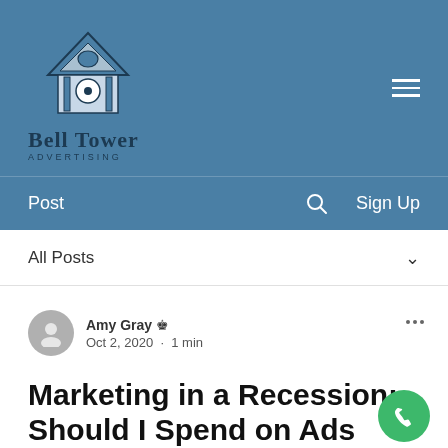[Figure (logo): BellTower Advertising logo with bell tower illustration and brand name]
Post  🔍  Sign Up
All Posts
Amy Gray 👑
Oct 2, 2020 · 1 min
Marketing in a Recession: Should I Spend on Ads Right Now?